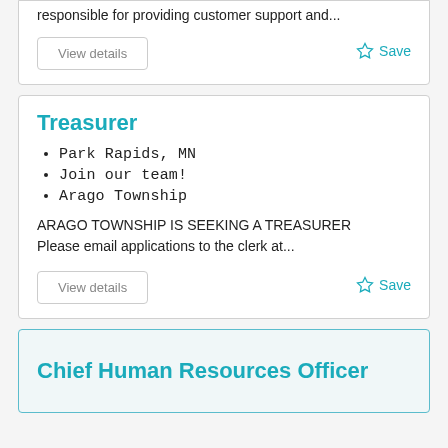responsible for providing customer support and...
View details
Save
Treasurer
Park Rapids, MN
Join our team!
Arago Township
ARAGO TOWNSHIP IS SEEKING A TREASURER Please email applications to the clerk at...
View details
Save
Chief Human Resources Officer